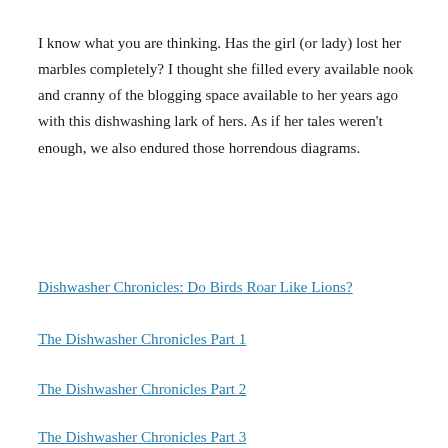I know what you are thinking. Has the girl (or lady) lost her marbles completely? I thought she filled every available nook and cranny of the blogging space available to her years ago with this dishwashing lark of hers. As if her tales weren't enough, we also endured those horrendous diagrams.
Dishwasher Chronicles: Do Birds Roar Like Lions?
The Dishwasher Chronicles Part 1
The Dishwasher Chronicles Part 2
The Dishwasher Chronicles Part 3